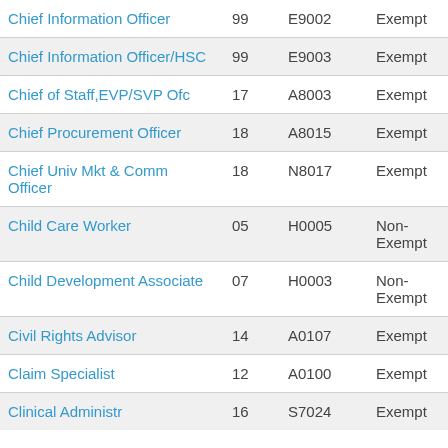| Job Title | Grade | Job Code | FLSA |
| --- | --- | --- | --- |
| Chief Information Officer | 99 | E9002 | Exempt |
| Chief Information Officer/HSC | 99 | E9003 | Exempt |
| Chief of Staff,EVP/SVP Ofc | 17 | A8003 | Exempt |
| Chief Procurement Officer | 18 | A8015 | Exempt |
| Chief Univ Mkt & Comm Officer | 18 | N8017 | Exempt |
| Child Care Worker | 05 | H0005 | Non-Exempt |
| Child Development Associate | 07 | H0003 | Non-Exempt |
| Civil Rights Advisor | 14 | A0107 | Exempt |
| Claim Specialist | 12 | A0100 | Exempt |
| Clinical Administr | 16 | S7024 | Exempt |